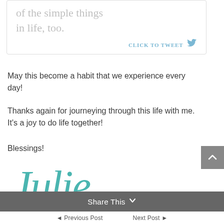of the simple things in life, too.
CLICK TO TWEET 🐦
May this become a habit that we experience every day!
Thanks again for journeying through this life with me. It's a joy to do life together!
Blessings!
[Figure (illustration): Cursive signature reading 'Julie' in teal/turquoise color]
Share This ∨